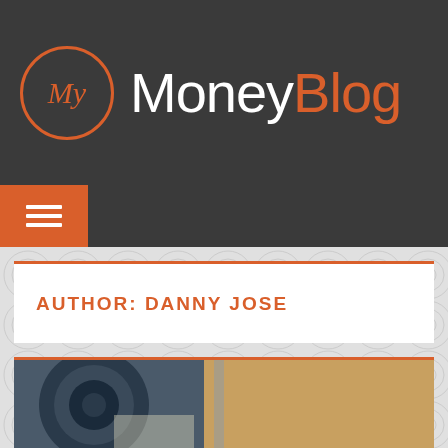My MoneyBlog
[Figure (logo): MyMoneyBlog logo with orange circle containing cursive 'My' text, followed by 'Money' in white and 'Blog' in orange on dark background]
AUTHOR: DANNY JOSE
[Figure (photo): Close-up photo of what appears to be a weight or dumbbell plate in bluish tone with blurred orange background]